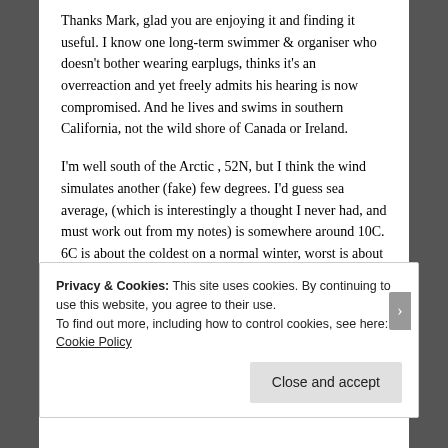Thanks Mark, glad you are enjoying it and finding it useful. I know one long-term swimmer & organiser who doesn't bother wearing earplugs, thinks it's an overreaction and yet freely admits his hearing is now compromised. And he lives and swims in southern California, not the wild shore of Canada or Ireland.
I'm well south of the Arctic , 52N, but I think the wind simulates another (fake) few degrees. I'd guess sea average, (which is interestingly a thought I never had, and must work out from my notes) is somewhere around 10C. 6C is about the coldest on a normal winter, worst is about 4.5C.
Privacy & Cookies: This site uses cookies. By continuing to use this website, you agree to their use.
To find out more, including how to control cookies, see here: Cookie Policy